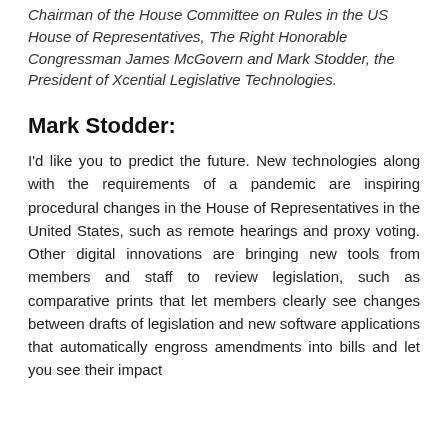Chairman of the House Committee on Rules in the US House of Representatives, The Right Honorable Congressman James McGovern and Mark Stodder, the President of Xcential Legislative Technologies.
Mark Stodder:
I'd like you to predict the future. New technologies along with the requirements of a pandemic are inspiring procedural changes in the House of Representatives in the United States, such as remote hearings and proxy voting. Other digital innovations are bringing new tools from members and staff to review legislation, such as comparative prints that let members clearly see changes between drafts of legislation and new software applications that automatically engross amendments into bills and let you see their impact